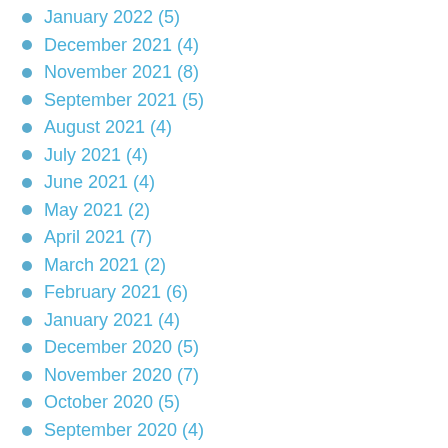January 2022 (5)
December 2021 (4)
November 2021 (8)
September 2021 (5)
August 2021 (4)
July 2021 (4)
June 2021 (4)
May 2021 (2)
April 2021 (7)
March 2021 (2)
February 2021 (6)
January 2021 (4)
December 2020 (5)
November 2020 (7)
October 2020 (5)
September 2020 (4)
August 2020 (8)
July 2020 (5)
June 2020 (4)
May 2020 (7)
April 2020 (8)
March 2020 (2)
February 2020 (6)
January 2020 (9)
December 2019 (2)
November 2019 (7)
October 2019 (4)